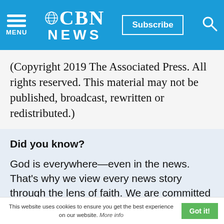CBN NEWS — Subscribe
(Copyright 2019 The Associated Press. All rights reserved. This material may not be published, broadcast, rewritten or redistributed.)
Did you know?
God is everywhere—even in the news. That's why we view every news story through the lens of faith. We are committed to delivering quality independent Christian journalism you can trust. But it takes a lot of hard work, time, and money to do what we do. Help us continue to be a
This website uses cookies to ensure you get the best experience on our website. More info   Got it!